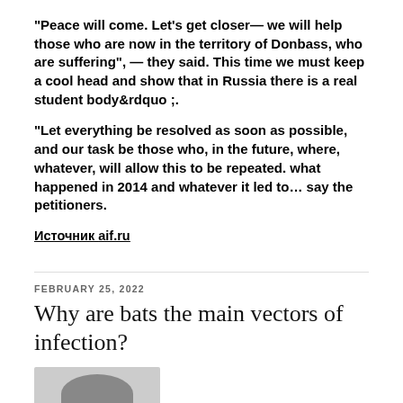“Peace will come. Let’s get closer— we will help those who are now in the territory of Donbass, who are suffering”, — they said. This time we must keep a cool head and show that in Russia there is a real student body&rdquo ;.
“Let everything be resolved as soon as possible, and our task be those who, in the future, where, whatever, will allow this to be repeated. what happened in 2014 and whatever it led to… say the petitioners.
Источник aif.ru
FEBRUARY 25, 2022
Why are bats the main vectors of infection?
[Figure (photo): Partial image of a person or animal, cropped at bottom of page]